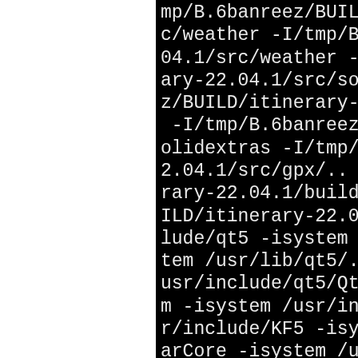mp/B.6banreez/BUILD/itinerary-22.04.1/src/weather -I/tmp/B.6banreez/BUILD/itinerary-22.04.1/src/solidextras -I/tmp/B.6banreez/BUILD/itinerary-22.04.1/src/gpx/.. -I/tmp/B.6banreez/BUILD/itinerary-22.04.1/build/src/gpx -I/tmp/B.6banreez/BUILD/itinerary-22.04.1/src/kdeintegration -I/tmp/B.6banreez/BUILD/itinerary-22.04.1/build/src -DBUILD_itinerary-22.04.1 -I/tmp/B.6banreez/BUILD/itinerary-22.04.1/src/solidextras -I/tmp/B.6banreez/BUILD/itinerary-22.04.1/src/gpx/.. -I/tmp/B.6banreez/BUILD/itinerary-22.04.1/build/src/gpx -IBUILD/itinerary-22.04.1/src/include/qt5 -isystem /usr/include/qt5 -isystem /usr/lib/qt5/mkspecs -isystem /usr/include/qt5/QtGui -isystem /usr/include/KF5 -isystem /usr/include/KF5 -isystem /usr/include/KF5/KalendarCore -isystem /usr/include/KF5/KI18nLocalization -isystem /usr/include/KF5/KContacts -isystem /usr/include/KF5/KCoreAddons -isystem /usr/include/KF5/KNotifications -isystem /usr/include/qt5/QtDBus -isystem /usr/include/qt5/QtNetwork -isystem /usr/include/qt5/QtQuick -isystem /usr/include/qt5/QtQml -isystem /usr/include/qt5/QtCore